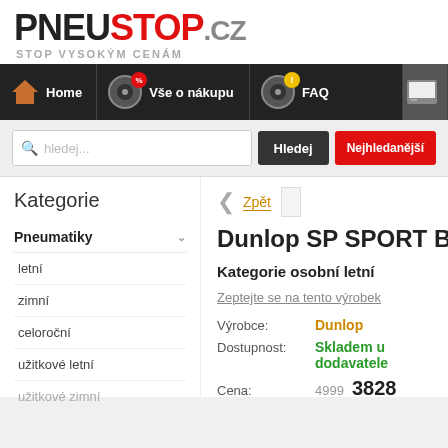[Figure (logo): PNEUSTOP.CZ logo with tagline STOP VYSOKÝM CENÁM]
[Figure (screenshot): Navigation bar with Home, Vše o nákupu, FAQ menu items with wheel icons]
[Figure (screenshot): Search bar with hledej... placeholder, Hledej button, Nejhledanější button]
Kategorie
Pneumatiky
letní
zimní
celoroční
užitkové letní
užitkové zimní
Zpět
Dunlop SP SPORT B
Kategorie osobní letní
Zeptejte se na tento výrobek
Výrobce: Dunlop
Dostupnost: Skladem u dodavatele
Cena: 4999 3828